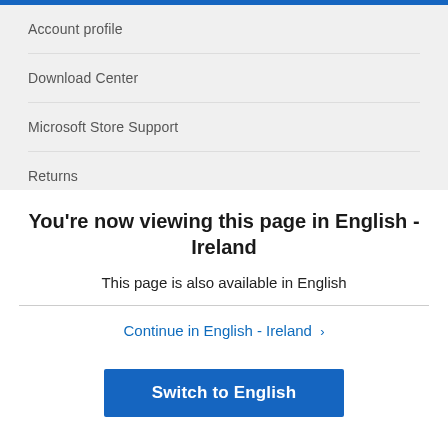Account profile
Download Center
Microsoft Store Support
Returns
You're now viewing this page in English - Ireland
This page is also available in English
Continue in English - Ireland >
Switch to English